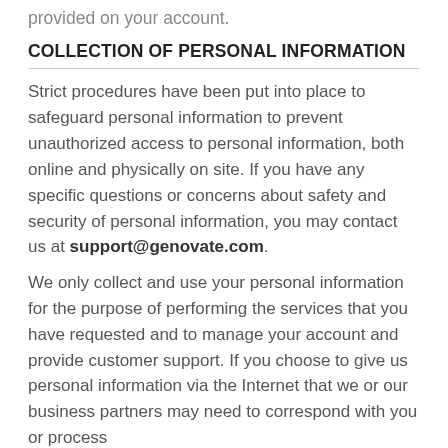provided on your account.
COLLECTION OF PERSONAL INFORMATION
Strict procedures have been put into place to safeguard personal information to prevent unauthorized access to personal information, both online and physically on site. If you have any specific questions or concerns about safety and security of personal information, you may contact us at support@genovate.com.
We only collect and use your personal information for the purpose of performing the services that you have requested and to manage your account and provide customer support. If you choose to give us personal information via the Internet that we or our business partners may need to correspond with you or process